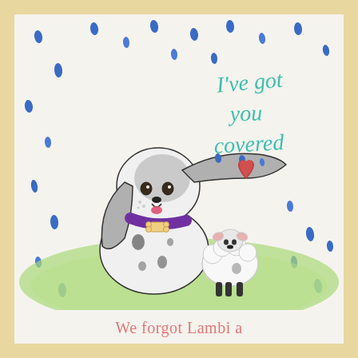[Figure (illustration): Hand-drawn illustration of a large spotted dog with a purple collar and bone tag using one ear/paw to shield a small lamb from the rain. Multiple blue raindrop shapes fall around them. The dog and lamb stand on a green grassy hill. In the upper right, the text 'I've got you covered' is written in teal/turquoise handwritten lettering with a red heart below it.]
I've got you covered ♥
We forgot Lambi a